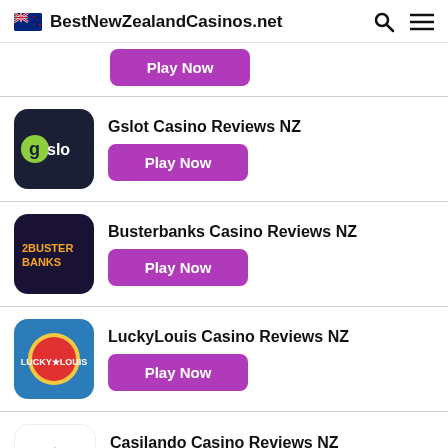BestNewZealandCasinos.net
Gslot Casino Reviews NZ
Busterbanks Casino Reviews NZ
LuckyLouis Casino Reviews NZ
Casilando Casino Reviews NZ